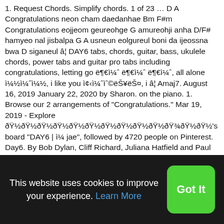1. Request Chords. Simplify chords. 1 of 23 … D A Congratulations neon cham daedanhae Bm F#m Congratulations eojjeom geureohge G amureohji anha D/F# hamyeo nal jisbalpa G A usneun eolgureul boni da ijeossna bwa D siganeul â¦ DAY6 tabs, chords, guitar, bass, ukulele chords, power tabs and guitar pro tabs including congratulations, letting go ë¶€ì¼ˆ ë¶€ì¼ˆ ë¶€ì¼ˆ, all alone ì¼½ì¼ˆì¼½, i like you ì¢‹ì¼ˆìˆ©ëŠ¥ëŠ¤, i â¦ Amaj7. August 16, 2019 January 22, 2020 by Sharon. on the piano. 1. Browse our 2 arrangements of "Congratulations." Mar 19, 2019 - Explore ðŸ½ðŸ½ðŸ½ðŸ½ðŸ½ðŸ½ðŸ½ðŸ½ðŸ½ðŸ½ðŸ¾ðŸ½ðŸ½'s board "DAY6 | ì¼­ jae", followed by 4720 people on Pinterest. Day6. By Bob Dylan, Cliff Richard, Juliana Hatfield and Paul Simon. Am. Sheet music is available for Piano, Voice, Backup Vocals and 1 others with 4 scorings in 8 genres. Dsus4. the one you have now is not working because the youtube video
This website uses cookies to improve your experience. Learn More
Got It